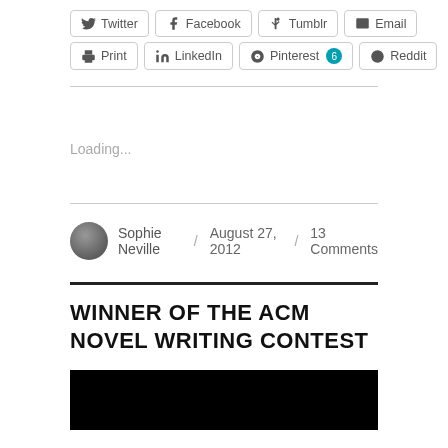Twitter
Facebook
Tumblr
Email
Print
LinkedIn
Pinterest 6
Reddit
Loading...
Sophie Neville / August 27, 2012 / 13 Comments
WINNER OF THE ACM NOVEL WRITING CONTEST
[Figure (photo): Black image block at bottom of page]